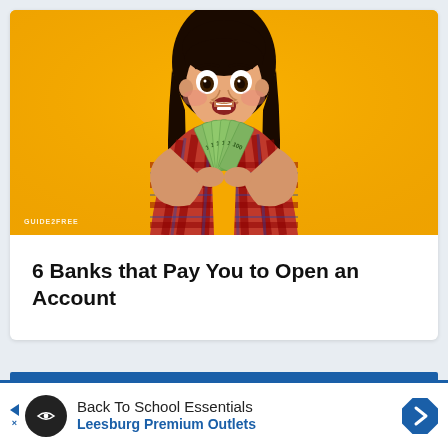[Figure (photo): Woman with dark hair holding a fan of cash/dollar bills with an excited expression, against a bright yellow/orange background. GUIDE2FREE watermark in lower left.]
6 Banks that Pay You to Open an Account
Back To School Essentials
Leesburg Premium Outlets